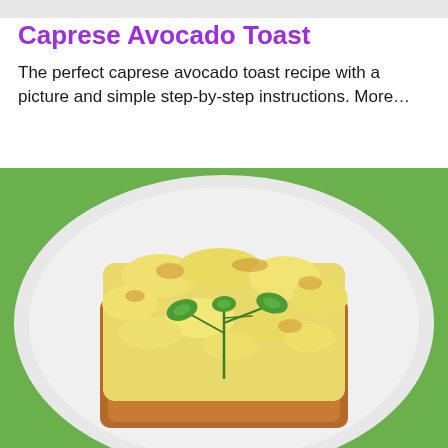Caprese Avocado Toast
The perfect caprese avocado toast recipe with a picture and simple step-by-step instructions. More…
[Figure (photo): A caprese avocado toast on a white plate with melted golden cheese on top of bread, garnished with a fresh green parsley sprig, set on a green background]